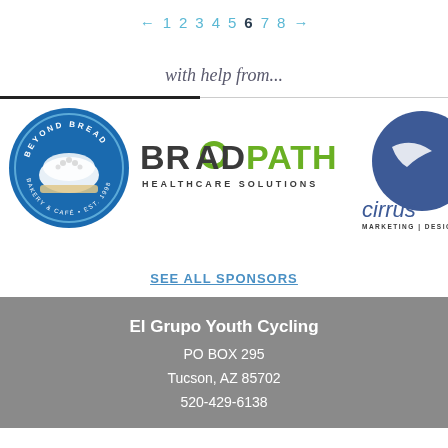← 1 2 3 4 5 6 7 8 →
with help from...
[Figure (logo): Beyond Bread Bakery & Café Est. 1998 circular logo in blue]
[Figure (logo): BroadPath Healthcare Solutions logo with green dot and text]
[Figure (logo): Cirrus Marketing | Design logo partially visible on right edge]
SEE ALL SPONSORS
El Grupo Youth Cycling
PO BOX 295
Tucson, AZ 85702
520-429-6138